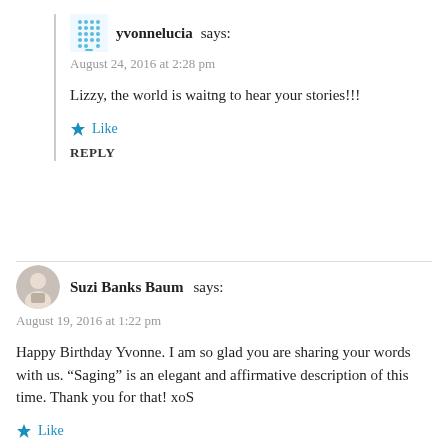yvonnelucia says:
August 24, 2016 at 2:28 pm
Lizzy, the world is waitng to hear your stories!!!
Like
REPLY
Suzi Banks Baum says:
August 19, 2016 at 1:22 pm
Happy Birthday Yvonne. I am so glad you are sharing your words with us. “Saging” is an elegant and affirmative description of this time. Thank you for that! xoS
Like
REPLY